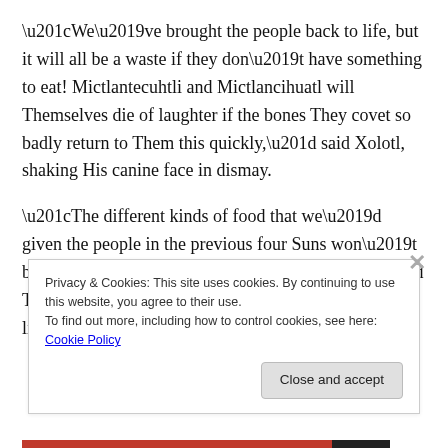“We’ve brought the people back to life, but it will all be a waste if they don’t have something to eat! Mictlantecuhtli and Mictlancihuatl will Themselves die of laughter if the bones They covet so badly return to Them this quickly,” said Xolotl, shaking His canine face in dismay.
“The different kinds of food that we’d given the people in the previous four Suns won’t be right for these, for these are true humans,” said Tlaloc, the Lord of Rain, His voice a rumbling growl like a jaguar. “We need to find the real
Privacy & Cookies: This site uses cookies. By continuing to use this website, you agree to their use.
To find out more, including how to control cookies, see here: Cookie Policy
Close and accept